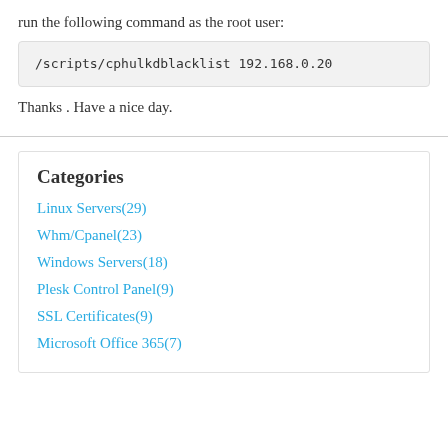run the following command as the root user:
/scripts/cphulkdblacklist 192.168.0.20
Thanks . Have a nice day.
Categories
Linux Servers(29)
Whm/Cpanel(23)
Windows Servers(18)
Plesk Control Panel(9)
SSL Certificates(9)
Microsoft Office 365(7)